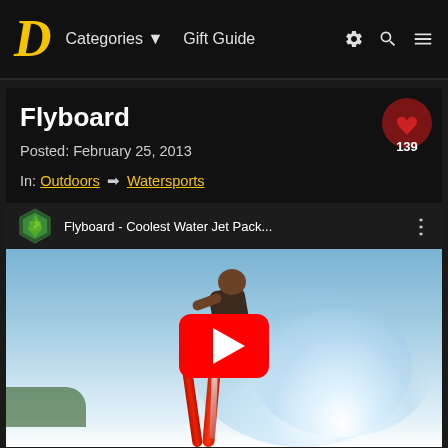D  Categories ▼  Gift Guide  ⚙ 🔍 ≡
Flyboard
Posted: February 25, 2013
In: Outdoors ➡ Watersports
[Figure (screenshot): YouTube video embed showing a person on a flyboard water jet pack over ocean water. Video title: 'Flyboard - Coolest Water Jet Pack...' with a YouTube play button overlay and a green hexagonal channel logo.]